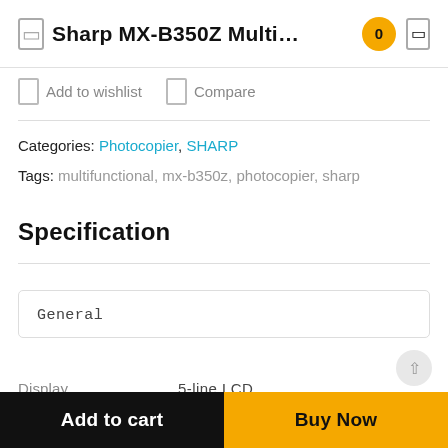Sharp MX-B350Z Multi...
Add to wishlist   Compare
Categories: Photocopier, SHARP
Tags: multifunctional, mx-b350z, photocopier, sharp
Specification
| General |
| Display | 5-line LCD |
Add to cart
Buy Now